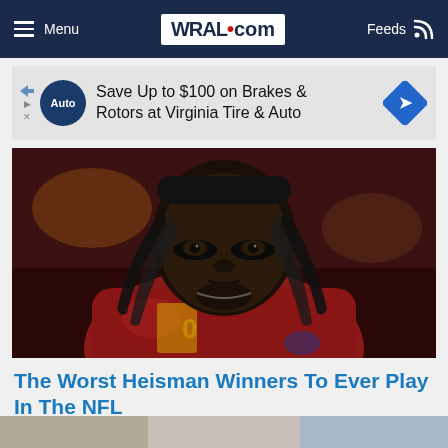Menu | WRAL.com | Feeds
[Figure (infographic): Advertisement banner: Save Up to $100 on Brakes & Rotors at Virginia Tire & Auto, with AutoZone logo and blue diamond navigation icon]
[Figure (photo): Close-up portrait of an NFL football player wearing a dark headband and red jersey, with eye black markings under his eyes, looking at the camera with a serious expression]
The Worst Heisman Winners To Ever Play In The NFL
The Sports Drop | Sponsored
[Figure (photo): Partial image of another article thumbnail visible at the bottom of the page]